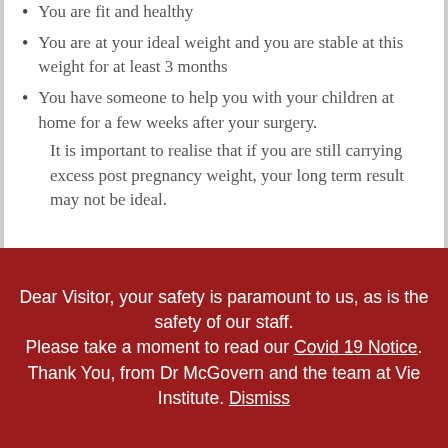You are fit and healthy
You are at your ideal weight and you are stable at this weight for at least 3 months
You have someone to help you with your children at home for a few weeks after your surgery. It is important to realise that if you are still carrying excess post pregnancy weight, your long term result may not be ideal.
Dear Visitor, your safety is paramount to us, as is the safety of our staff. Please take a moment to read our Covid 19 Notice. Thank You, from Dr McGovern and the team at Vie Institute. Dismiss